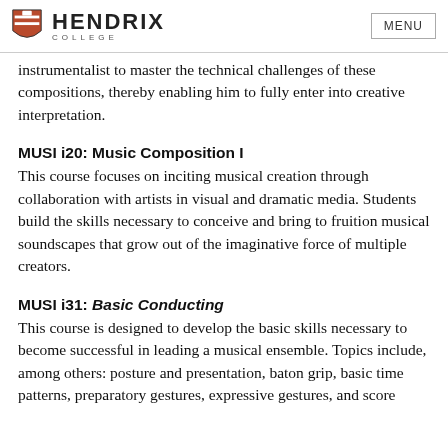HENDRIX COLLEGE | MENU
instrumentalist to master the technical challenges of these compositions, thereby enabling him to fully enter into creative interpretation.
MUSI i20: Music Composition I
This course focuses on inciting musical creation through collaboration with artists in visual and dramatic media. Students build the skills necessary to conceive and bring to fruition musical soundscapes that grow out of the imaginative force of multiple creators.
MUSI i31: Basic Conducting
This course is designed to develop the basic skills necessary to become successful in leading a musical ensemble. Topics include, among others: posture and presentation, baton grip, basic time patterns, preparatory gestures, expressive gestures, and score